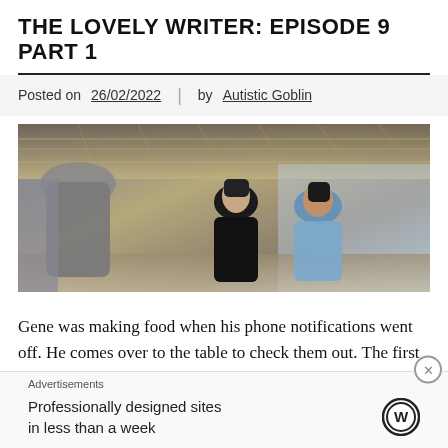THE LOVELY WRITER: EPISODE 9 PART 1
Posted on 26/02/2022  |  by Autistic Goblin
[Figure (photo): Scene from The Lovely Writer episode 9: two young men in a modern interior, facing a third person whose back is toward the camera. The setting appears to be an upscale venue with decorative ceiling elements.]
Gene was making food when his phone notifications went off. He comes over to the table to check them out. The first two were from Nubsib reminding him to eat, then there were messages from Aoey. Aoey sent him a
Advertisements
Professionally designed sites in less than a week